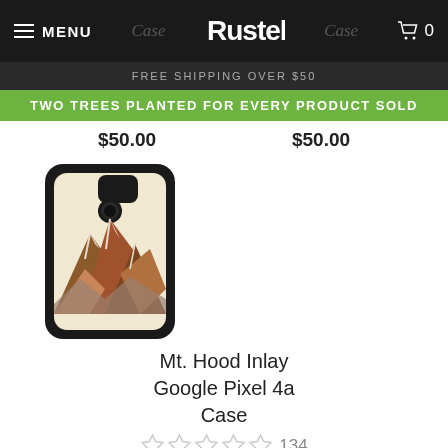MENU | Case | Rustek | Case | 0
FREE SHIPPING OVER $50
TWO TREES PLANTED FOR EVERY PRODUCT SOLD
$50.00  $50.00
[Figure (photo): Mt. Hood Inlay Google Pixel 4a wooden phone case with mountain inlay design on cream/maple wood background with dark border]
Mt. Hood Inlay Google Pixel 4a Case
134 reviews
$50.00